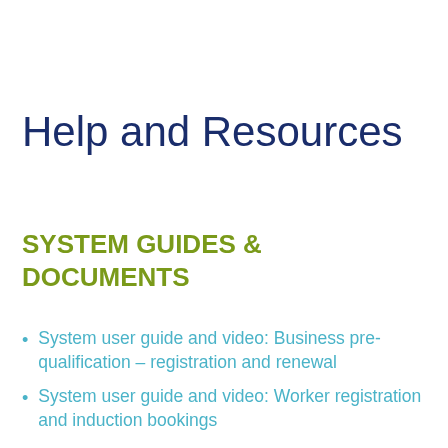Help and Resources
SYSTEM GUIDES & DOCUMENTS
System user guide and video: Business pre-qualification – registration and renewal
System user guide and video: Worker registration and induction bookings
Worker Mobile App Video Guide